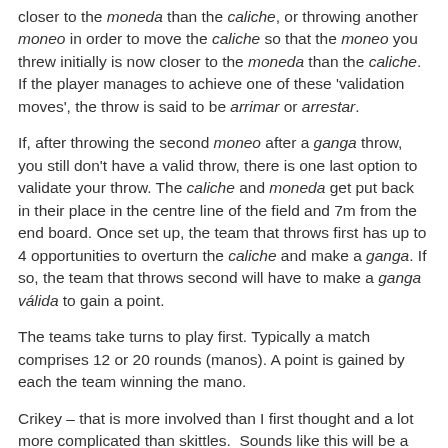closer to the moneda than the caliche, or throwing another moneo in order to move the caliche so that the moneo you threw initially is now closer to the moneda than the caliche. If the player manages to achieve one of these 'validation moves', the throw is said to be arrimar or arrestar.
If, after throwing the second moneo after a ganga throw, you still don't have a valid throw, there is one last option to validate your throw. The caliche and moneda get put back in their place in the centre line of the field and 7m from the end board. Once set up, the team that throws first has up to 4 opportunities to overturn the caliche and make a ganga. If so, the team that throws second will have to make a ganga válida to gain a point.
The teams take turns to play first. Typically a match comprises 12 or 20 rounds (manos). A point is gained by each the team winning the mano.
Crikey – that is more involved than I first thought and a lot more complicated than skittles.  Sounds like this will be a hard fought competition with a lot of shouting and gesticulating going on. I am thinking this could be a good